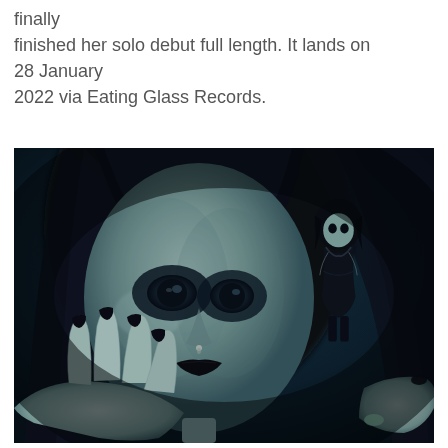finally finished her solo debut full length. It lands on 28 January 2022 via Eating Glass Records.
[Figure (photo): Digital art image of a pale gothic woman with dark hair and bangs, black makeup around hollow dark eyes, black lipstick, and a lip piercing, holding a small gothic doll figure in her hand with black painted nails. Dark moody blue background.]